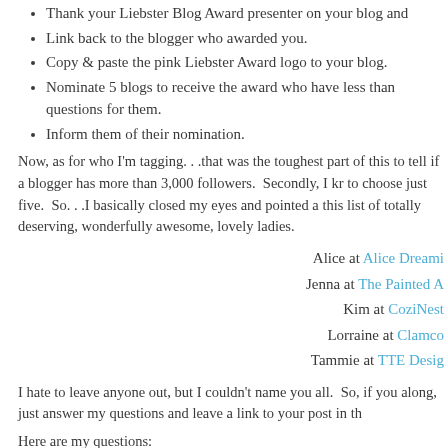Thank your Liebster Blog Award presenter on your blog and
Link back to the blogger who awarded you.
Copy & paste the pink Liebster Award logo to your blog.
Nominate 5 blogs to receive the award who have less than questions for them.
Inform them of their nomination.
Now, as for who I'm tagging. . .that was the toughest part of this to tell if a blogger has more than 3,000 followers. Secondly, I kr to choose just five. So. . .I basically closed my eyes and pointed a this list of totally deserving, wonderfully awesome, lovely ladies.
Alice at Alice Dreami
Jenna at The Painted A
Kim at CoziNest
Lorraine at Clamco
Tammie at TTE Desig
I hate to leave anyone out, but I couldn't name you all. So, if you along, just answer my questions and leave a link to your post in th
Here are my questions:
1. What is your nickname?
2. What's the most important thing for you to accomplish, even